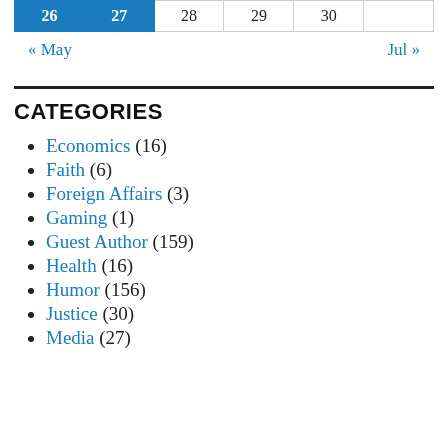| 26 | 27 | 28 | 29 | 30 |  |
| --- | --- | --- | --- | --- | --- |
« May    Jul »
CATEGORIES
Economics (16)
Faith (6)
Foreign Affairs (3)
Gaming (1)
Guest Author (159)
Health (16)
Humor (156)
Justice (30)
Media (27)